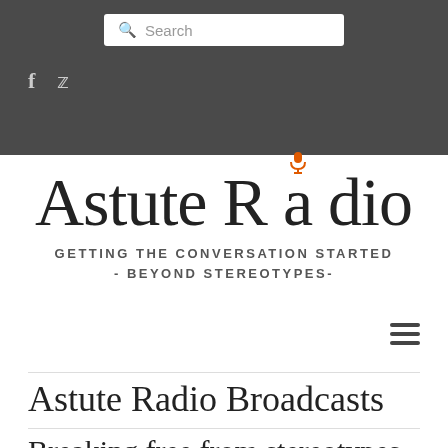Search
[Figure (logo): Astute Radio logo with microphone icon over the letter 'i', subtitle: GETTING THE CONVERSATION STARTED - BEYOND STEREOTYPES-]
Astute Radio Broadcasts
Breaking free from stereotypes